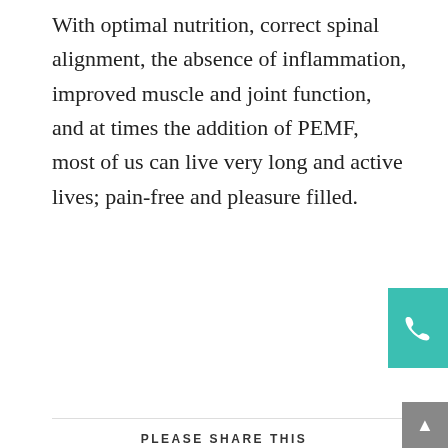With optimal nutrition, correct spinal alignment, the absence of inflammation, improved muscle and joint function, and at times the addition of PEMF, most of us can live very long and active lives; pain-free and pleasure filled.
PLEASE SHARE THIS
[Figure (infographic): Six circular social media share buttons: Twitter, Facebook, Google+, Pinterest, LinkedIn, Reddit]
Search
Categories